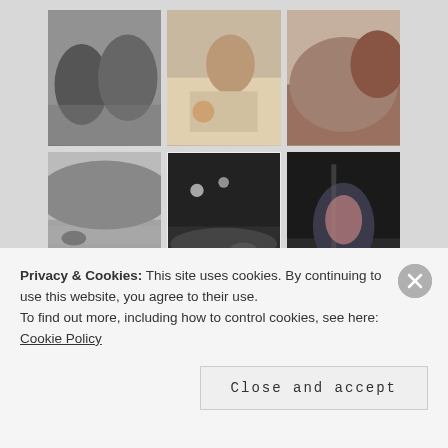[Figure (photo): A 2×3 grid of photos: top row has a black-and-white photo of two people outdoors, a color photo of someone working at a table, and a color photo of a dog on furniture. Bottom row has a black-and-white landscape/water scene, a dark night-time water/outdoor scene, and a color photo of a child on a swing.]
Digital Instagram
Privacy & Cookies: This site uses cookies. By continuing to use this website, you agree to their use.
To find out more, including how to control cookies, see here: Cookie Policy
Close and accept